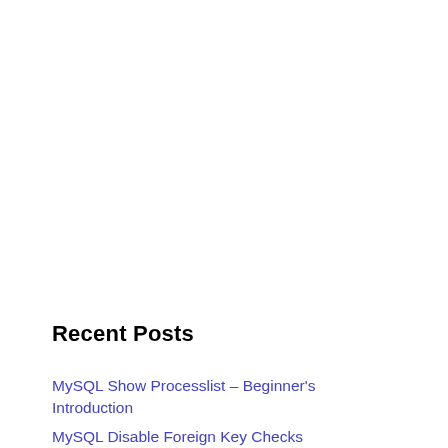Recent Posts
MySQL Show Processlist – Beginner's Introduction
MySQL Disable Foreign Key Checks